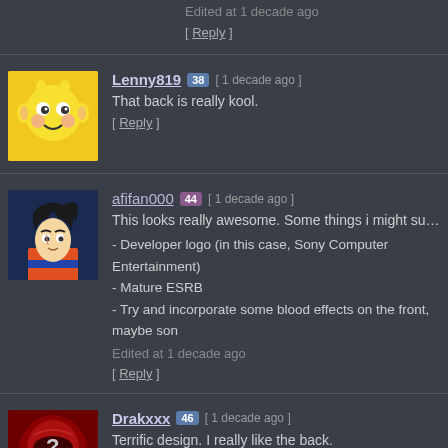Edited at 1 decade ago
[ Reply ]
Lenny819  38  [ 1 decade ago ]  That back is really kool.  [ Reply ]
afifan000  44  [ 1 decade ago ]  This looks really awesome. Some things i might suggest to make  - Developer logo (in this case, Sony Computer Entertainment)  - Mature ESRB  - Try and incorporate some blood effects on the front, maybe son  Edited at 1 decade ago  [ Reply ]
Drakxxx  46  [ 1 decade ago ]  Terrific design. I really like the back.  [ Reply ]